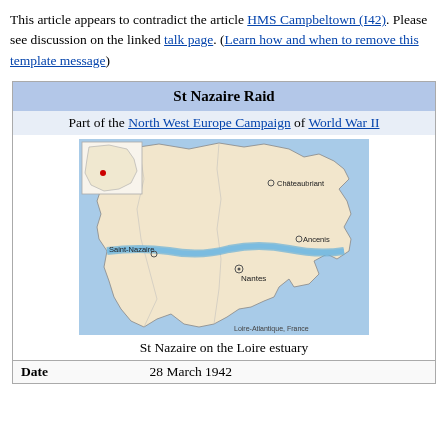This article appears to contradict the article HMS Campbeltown (I42). Please see discussion on the linked talk page. (Learn how and when to remove this template message)
| St Nazaire Raid |
| --- |
| Part of the North West Europe Campaign of World War II |
| [map image] |
| St Nazaire on the Loire estuary |
| Date | 28 March 1942 |